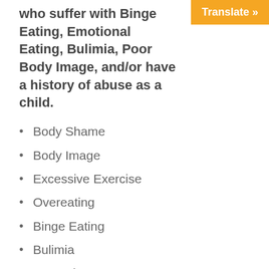who suffer with Binge Eating, Emotional Eating, Bulimia, Poor Body Image, and/or have a history of abuse as a child.
[Figure (screenshot): Orange 'Translate »' button in top-right corner]
Body Shame
Body Image
Excessive Exercise
Overeating
Binge Eating
Bulimia
Anorexia
Binge Eating (Compulsive Overeating) / Emotional Eating: